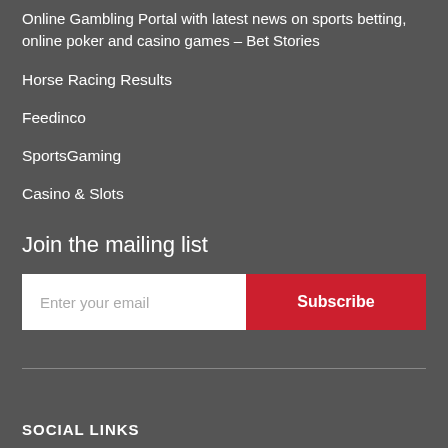Online Gambling Portal with latest news on sports betting, online poker and casino games – Bet Stories
Horse Racing Results
Feedinco
SportsGaming
Casino & Slots
Join the mailing list
Enter your email
Subscribe
SOCIAL LINKS